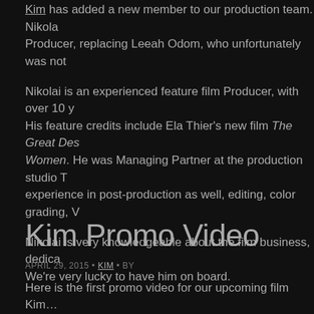Kim has added a new member to our production team. Nikola… Producer, replacing Leeah Odom, who unfortunately was not…
Nikolai is an experienced feature film Producer, with over 10 y… His feature credits include Ela Thier's new film The Great Des… Women. He was Managing Partner at the production studio T… experience in post-production as well, editing, color grading, V…
Nikolai is very knowledgeable about the film business, dedica… We're very lucky to have him on board.
Kim Promo Video
APRIL 29, 2015 • KIM • BY
Here is the first promo video for our upcoming film Kim…